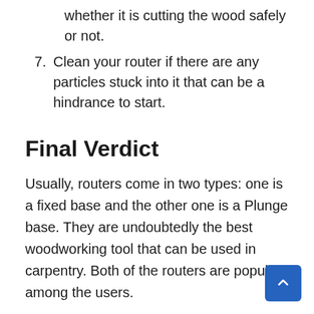whether it is cutting the wood safely or not.
7. Clean your router if there are any particles stuck into it that can be a hindrance to start.
Final Verdict
Usually, routers come in two types: one is a fixed base and the other one is a Plunge base. They are undoubtedly the best woodworking tool that can be used in carpentry. Both of the routers are popular among the users.
Basically, a plunge base router is able to move up and down easily and is best to plunge cut. In